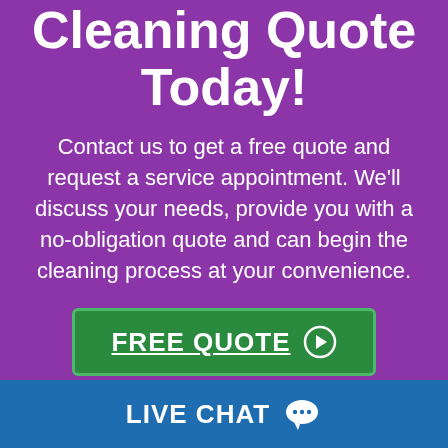Cleaning Quote Today!
Contact us to get a free quote and request a service appointment. We'll discuss your needs, provide you with a no-obligation quote and can begin the cleaning process at your convenience.
[Figure (other): Green button with white underlined text 'FREE QUOTE' and a circled arrow icon]
LIVE CHAT